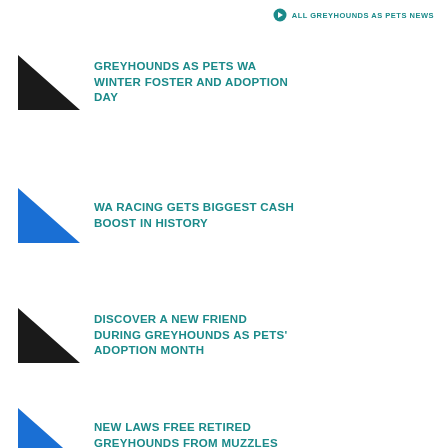ALL GREYHOUNDS AS PETS NEWS
GREYHOUNDS AS PETS WA WINTER FOSTER AND ADOPTION DAY
WA RACING GETS BIGGEST CASH BOOST IN HISTORY
DISCOVER A NEW FRIEND DURING GREYHOUNDS AS PETS' ADOPTION MONTH
NEW LAWS FREE RETIRED GREYHOUNDS FROM MUZZLES